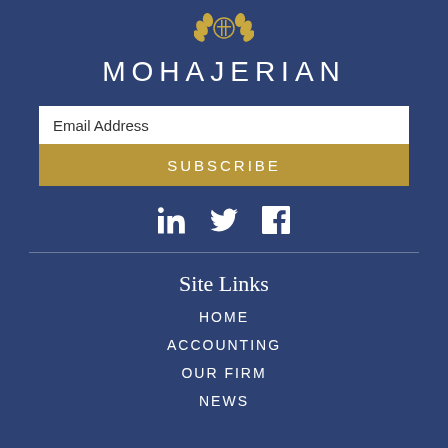[Figure (logo): Gold laurel wreath emblem logo at top center]
MOHAJERIAN
Email Address
SUBSCRIBE
[Figure (infographic): Social media icons: LinkedIn, Twitter, Facebook]
Site Links
HOME
ACCOUNTING
OUR FIRM
NEWS